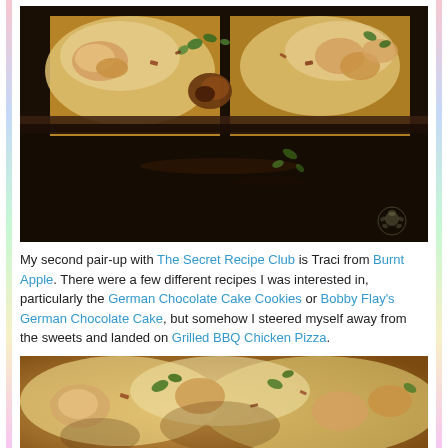[Figure (photo): Close-up photo of grilled BBQ chicken pizza slices on a dark stone surface, topped with melted cheese, chicken pieces, and fresh herb leaves (basil/oregano). Dark moody lighting with a small turtle watermark in the bottom right corner.]
My second pair-up with The Secret Recipe Club is Traci from Burnt Apple. There were a few different recipes I was interested in, particularly the German Chocolate Cake Cookies or Bobby Flay's German Chocolate Cake, but somehow I steered myself away from the sweets and landed on Grilled BBQ Chicken Pizza.
[Figure (photo): Another close-up photo of the grilled BBQ chicken pizza, showing melted cheese, shredded chicken, bacon bits, and fresh herb garnish from a slightly different angle.]